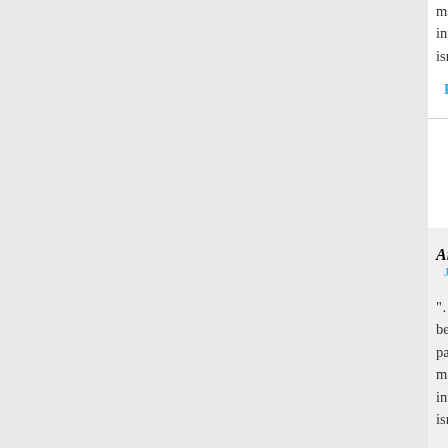many people work themselves into moral hysteria about the israelis?
Reply
Anonymous said
June 5, 2006 at 11:24 pm
"…given this absurd moral gap between the israelis and the palestinians/arabs, how can so many people work themselves into moral hysteria about the israelis?"
Good question! My best guess because they despise reason, Enlightenment, modernity, …
Thanks for dropping by, and fo the amazing story about the